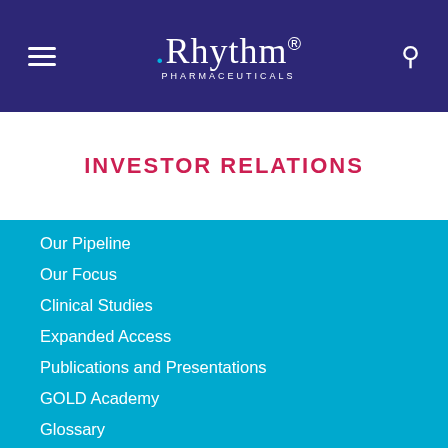[Figure (logo): Rhythm Pharmaceuticals logo with hamburger menu icon on left and search icon on right, on dark purple background]
INVESTOR RELATIONS
Our Pipeline
Our Focus
Clinical Studies
Expanded Access
Publications and Presentations
GOLD Academy
Glossary
CAREERS
Life at Rhythm
Working at Rhythm
ABOUT
Senior Management